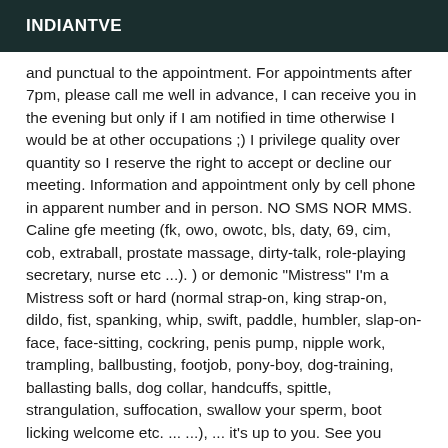INDIANTVE
and punctual to the appointment. For appointments after 7pm, please call me well in advance, I can receive you in the evening but only if I am notified in time otherwise I would be at other occupations ;) I privilege quality over quantity so I reserve the right to accept or decline our meeting. Information and appointment only by cell phone in apparent number and in person. NO SMS NOR MMS. Caline gfe meeting (fk, owo, owotc, bls, daty, 69, cim, cob, extraball, prostate massage, dirty-talk, role-playing secretary, nurse etc ...). ) or demonic "Mistress" I'm a Mistress soft or hard (normal strap-on, king strap-on, dildo, fist, spanking, whip, swift, paddle, humbler, slap-on-face, face-sitting, cockring, penis pump, nipple work, trampling, ballbusting, footjob, pony-boy, dog-training, ballasting balls, dog collar, handcuffs, spittle, strangulation, suffocation, swallow your sperm, boot licking welcome etc. ... ...), ... it's up to you. See you soon..... or not :) From monday to friday Sensually, The